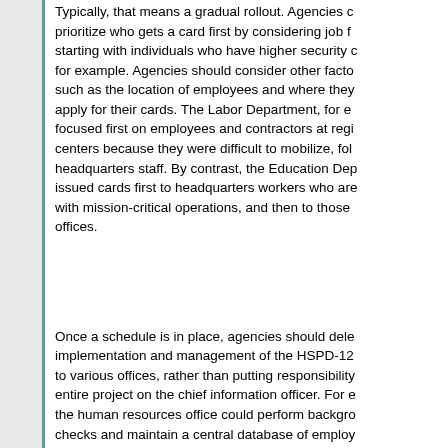Typically, that means a gradual rollout. Agencies c... prioritize who gets a card first by considering job f... starting with individuals who have higher security c... for example. Agencies should consider other facto... such as the location of employees and where they... apply for their cards. The Labor Department, for e... focused first on employees and contractors at regi... centers because they were difficult to mobilize, fol... headquarters staff. By contrast, the Education Dep... issued cards first to headquarters workers who are... with mission-critical operations, and then to those... offices.
Once a schedule is in place, agencies should dele... implementation and management of the HSPD-12... to various offices, rather than putting responsibility... entire project on the chief information officer. For e... the human resources office could perform backgro... checks and maintain a central database of employ... personal information, while the procurement group... logistical support and purchases the cards. The im... technology staff, with help from industry, could ove... integration and upkeep of systems.